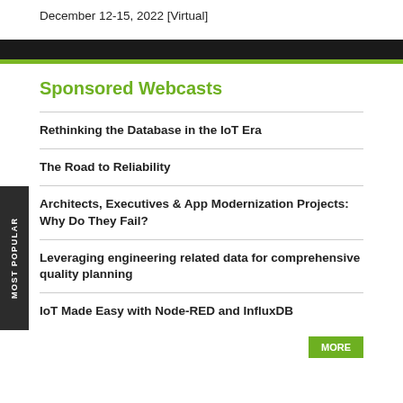December 12-15, 2022 [Virtual]
Sponsored Webcasts
Rethinking the Database in the IoT Era
The Road to Reliability
Architects, Executives & App Modernization Projects: Why Do They Fail?
Leveraging engineering related data for comprehensive quality planning
IoT Made Easy with Node-RED and InfluxDB